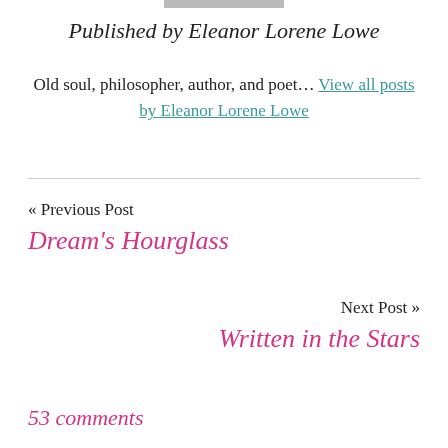[Figure (photo): Partial image strip at top of page]
Published by Eleanor Lorene Lowe
Old soul, philosopher, author, and poet... View all posts by Eleanor Lorene Lowe
« Previous Post
Dream's Hourglass
Next Post »
Written in the Stars
53 comments